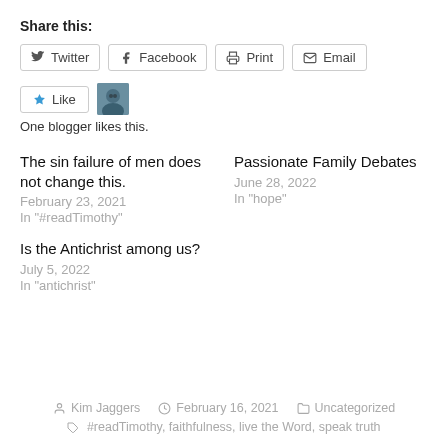Share this:
Twitter | Facebook | Print | Email
Like | One blogger likes this.
The sin failure of men does not change this.
February 23, 2021
In "#readTimothy"
Passionate Family Debates
June 28, 2022
In "hope"
Is the Antichrist among us?
July 5, 2022
In "antichrist"
Kim Jaggers  February 16, 2021  Uncategorized
#readTimothy, faithfulness, live the Word, speak truth